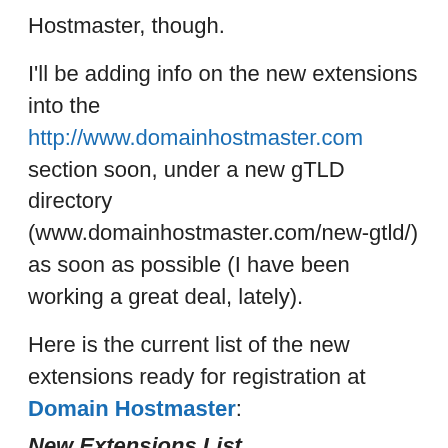Hostmaster, though.
I'll be adding info on the new extensions into the http://www.domainhostmaster.com section soon, under a new gTLD directory (www.domainhostmaster.com/new-gtld/) as soon as possible (I have been working a great deal, lately).
Here is the current list of the new extensions ready for registration at Domain Hostmaster:
New Extensions List
Privacy & Cookies: This site uses cookies. By continuing to use this website, you agree to their use. To find out more, including how to control cookies, see here: Cookie Policy
Close and accept
.pictures